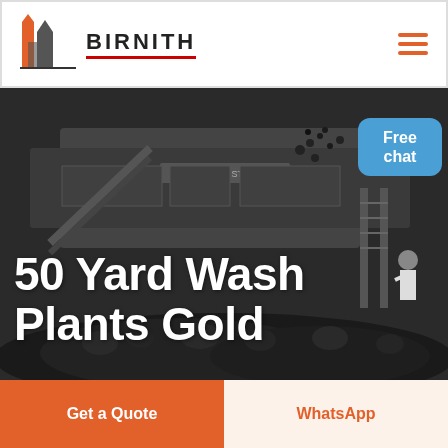[Figure (logo): Birnith company logo with orange and grey building/construction icon and brand name BIRNITH in bold letters with red underline, hamburger menu icon in orange on the right]
[Figure (photo): Industrial crushing station machinery with conveyor belts and coal/rock material, dark moody industrial setting]
50 Yard Wash Plants Gold
Free chat
Get a Quote
WhatsApp